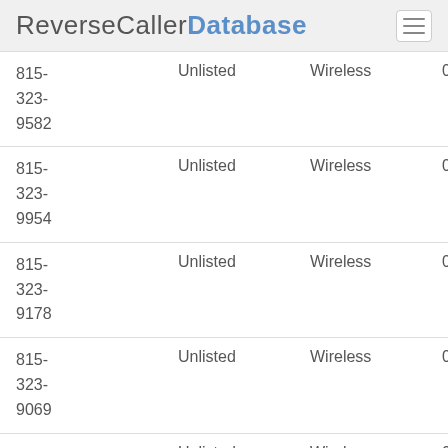ReverseCallerDatabase
| Phone | Listing | Type | Comments | Reports |
| --- | --- | --- | --- | --- |
| 815-323-9582 | Unlisted | Wireless | 0 | 0 |
| 815-323-9954 | Unlisted | Wireless | 0 | 0 |
| 815-323-9178 | Unlisted | Wireless | 0 | 0 |
| 815-323-9069 | Unlisted | Wireless | 0 | 0 |
| 815-323-9040 | Unlisted | Wireless | 0 | 0 |
| 815-323- | Unlisted | Wireless | 0 | 0 |